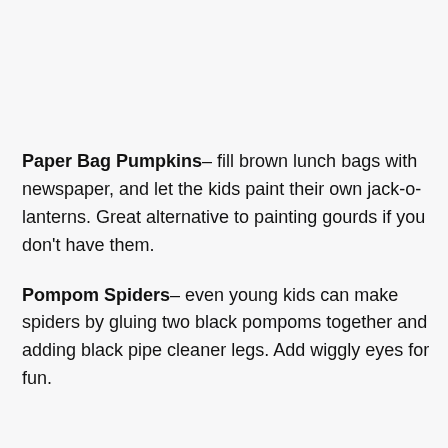Paper Bag Pumpkins– fill brown lunch bags with newspaper, and let the kids paint their own jack-o-lanterns. Great alternative to painting gourds if you don't have them.
Pompom Spiders– even young kids can make spiders by gluing two black pompoms together and adding black pipe cleaner legs. Add wiggly eyes for fun.